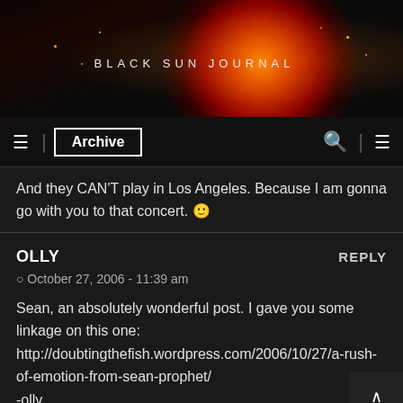[Figure (illustration): Black Sun Journal website banner with dark background showing a glowing red-orange sun/planet and the text BLACK SUN JOURNAL]
≡ | Archive  🔍 | ≡
And they CAN'T play in Los Angeles. Because I am gonna go with you to that concert. 🙂
OLLY   REPLY
⊙ October 27, 2006 - 11:39 am
Sean, an absolutely wonderful post. I gave you some linkage on this one:
http://doubtingthefish.wordpress.com/2006/10/27/a-rush-of-emotion-from-sean-prophet/
-olly
ADRON   REPLY